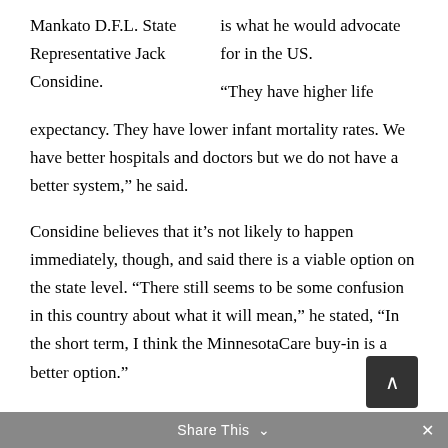Mankato D.F.L. State Representative Jack Considine. is what he would advocate for in the US.
“They have higher life expectancy. They have lower infant mortality rates. We have better hospitals and doctors but we do not have a better system,” he said.
Considine believes that it’s not likely to happen immediately, though, and said there is a viable option on the state level. “There still seems to be some confusion in this country about what it will mean,” he stated, “In the short term, I think the MinnesotaCare buy-in is a better option.”
Share This ∨  ×